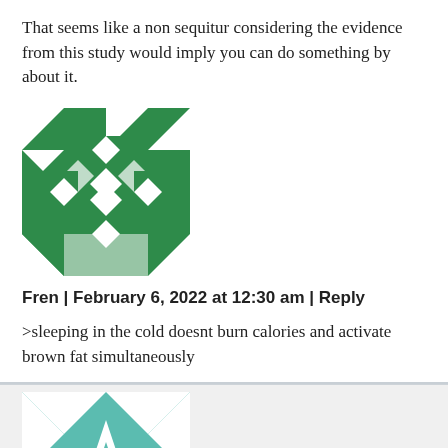That seems like a non sequitur considering the evidence from this study would imply you can do something by about it.
[Figure (illustration): Green and white geometric quilt-pattern avatar icon]
Fren | February 6, 2022 at 12:30 am | Reply
>sleeping in the cold doesnt burn calories and activate brown fat simultaneously
[Figure (illustration): Teal and white geometric star-pattern avatar icon]